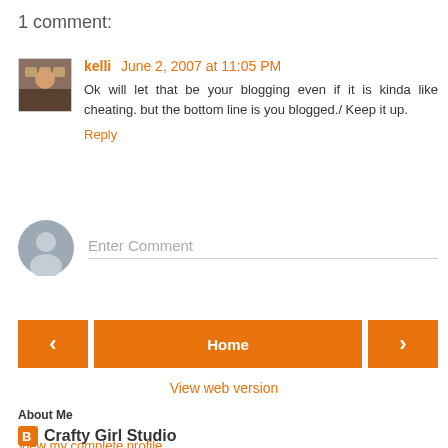1 comment:
kelli June 2, 2007 at 11:05 PM
Ok will let that be your blogging even if it is kinda like cheating. but the bottom line is you blogged./ Keep it up.
Reply
Enter Comment
Home
View web version
About Me
Crafty Girl Studio
View my complete profile